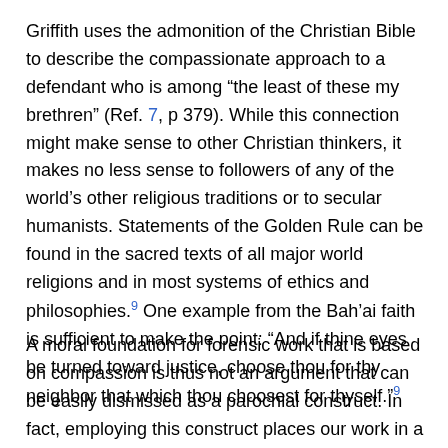Griffith uses the admonition of the Christian Bible to describe the compassionate approach to a defendant who is among “the least of these my brethren” (Ref. 7, p 379). While this connection might make sense to other Christian thinkers, it makes no less sense to followers of any of the world’s other religious traditions or to secular humanists. Statements of the Golden Rule can be found in the sacred texts of all major world religions and in most systems of ethics and philosophies.9 One example from the Bah’ai faith is sufficient to make the point: “And if thine eyes be turned toward justice, choose thou for thy neighbor that which thou choosest for thyself.”9
A moral foundation for forensic work that is based on compassion is thus not an argument that can be easily dismissed as a parochial construct. In fact, employing this construct places our work in a larger context of human endeavor and struggle. And where else should we look to find adequate cultural justification for our